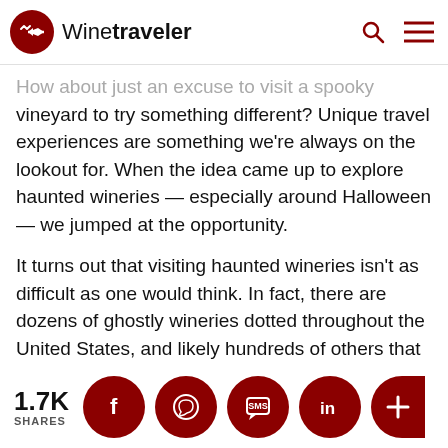Winetraveler
How about just an excuse to visit a spooky vineyard to try something different? Unique travel experiences are something we're always on the lookout for. When the idea came up to explore haunted wineries — especially around Halloween — we jumped at the opportunity.
It turns out that visiting haunted wineries isn't as difficult as one would think. In fact, there are dozens of ghostly wineries dotted throughout the United States, and likely hundreds of others that simply haven't been documented.
1.7K SHARES